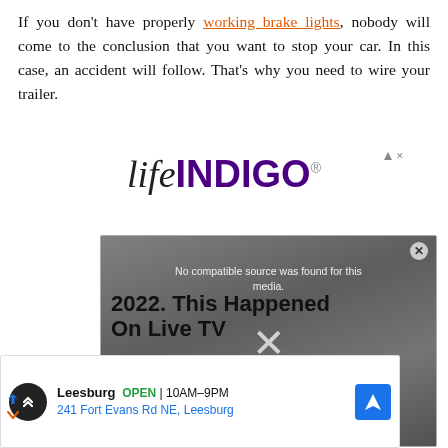If you don't have properly working brake lights, nobody will come to the conclusion that you want to stop your car. In this case, an accident will follow. That's why you need to wire your trailer.
[Figure (logo): lifeINDIGO advertisement logo with 'life' in black italic serif and 'INDIGO' in bold purple sans-serif, with small ad marker triangles top right]
[Figure (screenshot): Video player overlay with dark background showing text '2022. This Happened On Live TV', a compatibility error message 'No compatible source was found for this media.', and a large X close button. Close button in top right corner.]
[Figure (screenshot): Bottom advertisement banner showing Leesburg location with circle icon, OPEN status in green, hours 10AM-9PM, address 241 Fort Evans Rd NE, Leesburg, and blue navigation arrow icon. Small ad triangle markers on left side.]